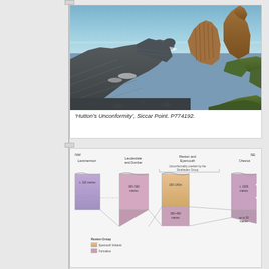[Figure (photo): Photograph of Hutton's Unconformity at Siccar Point, showing nearly vertical dark greywacke rocks overlain by more gently inclined red sandstone strata, with the sea in the background. Reference code P774192.]
'Hutton's Unconformity', Siccar Point. P774192.
[Figure (schematic): Geological correlation diagram showing the Reston Group across different locations (NW to SE): Lammermuir, Lauderdale and Dunbar, Reston and Eyemouth, and Cheviot. Shows thickness variations and unconformable relationship with the Stratheden Group. Legend shows Eyemouth Volcanic Formation in orange and other units in pink/purple.]